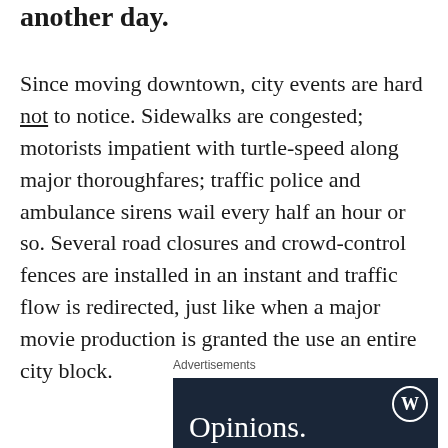another day.
Since moving downtown, city events are hard not to notice. Sidewalks are congested; motorists impatient with turtle-speed along major thoroughfares; traffic police and ambulance sirens wail every half an hour or so. Several road closures and crowd-control fences are installed in an instant and traffic flow is redirected, just like when a major movie production is granted the use an entire city block.
Advertisements
[Figure (other): WordPress advertisement banner with dark navy background, WordPress logo (W in circle) in top right, and large white text reading 'Opinions.']